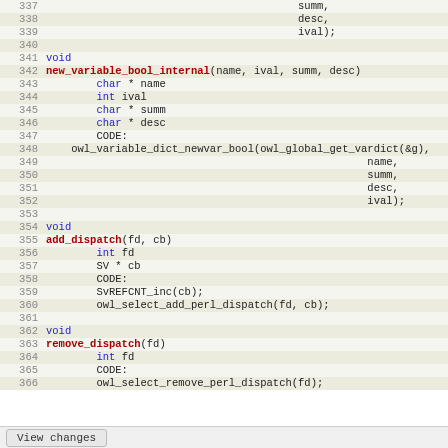[Figure (screenshot): Source code viewer showing lines 337-366 of a Perl XS/C file with function definitions for new_variable_bool_internal, add_dispatch, and remove_dispatch, with line numbers on the left and syntax highlighting.]
View changes